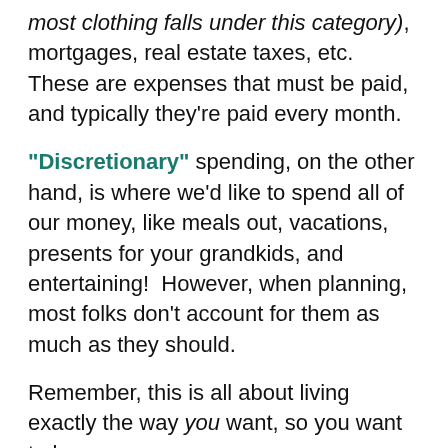most clothing falls under this category), mortgages, real estate taxes, etc.  These are expenses that must be paid, and typically they're paid every month.
“Discretionary” spending, on the other hand, is where we’d like to spend all of our money, like meals out, vacations, presents for your grandkids, and entertaining!  However, when planning, most folks don’t account for them as much as they should.
Remember, this is all about living exactly the way you want, so you want to be